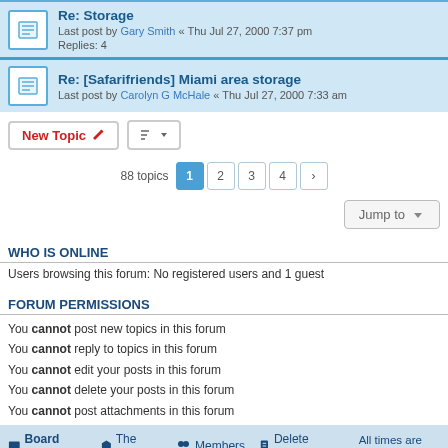Re: Storage — Last post by Gary Smith « Thu Jul 27, 2000 7:37 pm — Replies: 4
Re: [Safarifriends] Miami area storage — Last post by Carolyn G McHale « Thu Jul 27, 2000 7:33 am
New Topic | sort | 88 topics  1 2 3 4 >
Jump to
WHO IS ONLINE
Users browsing this forum: No registered users and 1 guest
FORUM PERMISSIONS
You cannot post new topics in this forum
You cannot reply to topics in this forum
You cannot edit your posts in this forum
You cannot delete your posts in this forum
You cannot post attachments in this forum
Board index  The team  Members  Delete cookies  All times are UTC
Powered by phpBB® Forum Software © phpBB Limited
Privacy | Terms